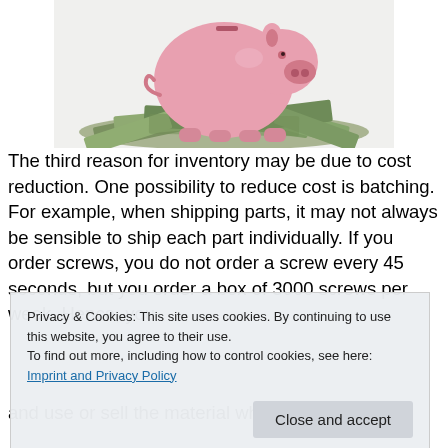[Figure (photo): Pink piggy bank standing on top of a pile of US dollar bills on a white background]
The third reason for inventory may be due to cost reduction. One possibility to reduce cost is batching. For example, when shipping parts, it may not always be sensible to ship each part individually. If you order screws, you do not order a screw every 45 seconds, but you order a box of 3000 screws per week. Hence, you
Privacy & Cookies: This site uses cookies. By continuing to use this website, you agree to their use.
To find out more, including how to control cookies, see here:
Imprint and Privacy Policy
and use or sell the material when prices go up. This is in effect a…